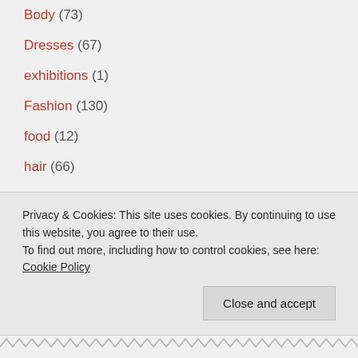Body (73)
Dresses (67)
exhibitions (1)
Fashion (130)
food (12)
hair (66)
Lifestyle (117)
Make Up (254)
music (3)
nails (158)
outfits (70)
Privacy & Cookies: This site uses cookies. By continuing to use this website, you agree to their use. To find out more, including how to control cookies, see here: Cookie Policy